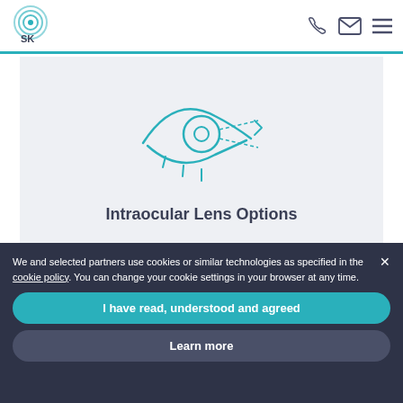[Figure (logo): SK eye clinic logo with circular wave design in teal]
[Figure (illustration): Teal line drawing of an eye with dashed lines indicating lens/light path]
Intraocular Lens Options
We and selected partners use cookies or similar technologies as specified in the cookie policy. You can change your cookie settings in your browser at any time.
I have read, understood and agreed
Learn more